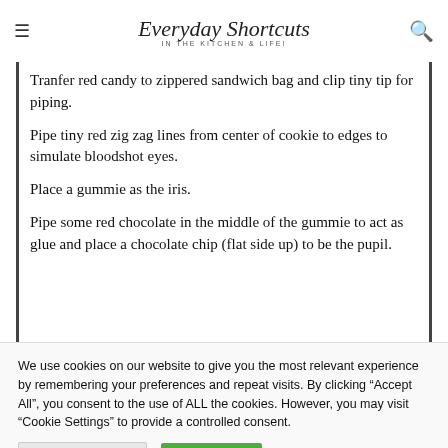Everyday Shortcuts IN THE KITCHEN & LIFE!
Tranfer red candy to zippered sandwich bag and clip tiny tip for piping.
Pipe tiny red zig zag lines from center of cookie to edges to simulate bloodshot eyes.
Place a gummie as the iris.
Pipe some red chocolate in the middle of the gummie to act as glue and place a chocolate chip (flat side up) to be the pupil.
We use cookies on our website to give you the most relevant experience by remembering your preferences and repeat visits. By clicking “Accept All”, you consent to the use of ALL the cookies. However, you may visit “Cookie Settings” to provide a controlled consent.